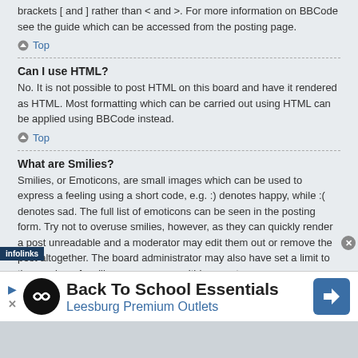brackets [ and ] rather than < and >. For more information on BBCode see the guide which can be accessed from the posting page.
Top
Can I use HTML?
No. It is not possible to post HTML on this board and have it rendered as HTML. Most formatting which can be carried out using HTML can be applied using BBCode instead.
Top
What are Smilies?
Smilies, or Emoticons, are small images which can be used to express a feeling using a short code, e.g. :) denotes happy, while :( denotes sad. The full list of emoticons can be seen in the posting form. Try not to overuse smilies, however, as they can quickly render a post unreadable and a moderator may edit them out or remove the post altogether. The board administrator may also have set a limit to the number of smilies you may use within a post.
[Figure (infographic): Advertisement banner: Back To School Essentials - Leesburg Premium Outlets with infolinks badge]